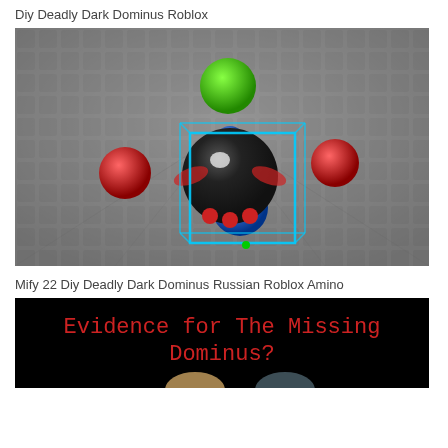Diy Deadly Dark Dominus Roblox
[Figure (screenshot): Roblox game screenshot showing a dark sphere character with a cyan selection box around it, surrounded by red and blue spheres on a grey tiled floor, with a green sphere floating above]
Mify 22 Diy Deadly Dark Dominus Russian Roblox Amino
[Figure (screenshot): Dark background image with red monospace text reading 'Evidence for The Missing Dominus?' with a partially visible hand at the bottom]